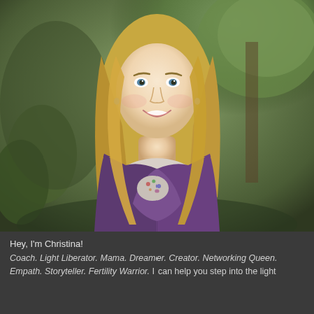[Figure (photo): Professional headshot of a smiling blonde woman with long hair, wearing a purple wrap cardigan over a floral top, photographed outdoors with green trees in the background]
Hey, I'm Christina!
Coach. Light Liberator. Mama. Dreamer. Creator. Networking Queen. Empath. Storyteller. Fertility Warrior. I can help you step into the light and become inspired to create the life you've always dreamed of living.